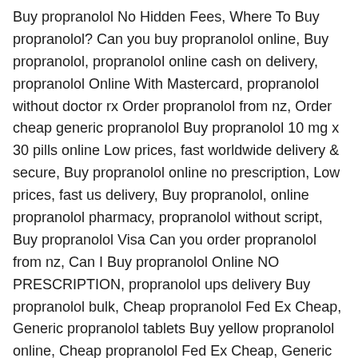Buy propranolol No Hidden Fees, Where To Buy propranolol? Can you buy propranolol online, Buy propranolol, propranolol online cash on delivery, propranolol Online With Mastercard, propranolol without doctor rx Order propranolol from nz, Order cheap generic propranolol Buy propranolol 10 mg x 30 pills online Low prices, fast worldwide delivery & secure, Buy propranolol online no prescription, Low prices, fast us delivery, Buy propranolol, online propranolol pharmacy, propranolol without script, Buy propranolol Visa Can you order propranolol from nz, Can I Buy propranolol Online NO PRESCRIPTION, propranolol ups delivery Buy propranolol bulk, Cheap propranolol Fed Ex Cheap, Generic propranolol tablets Buy yellow propranolol online, Cheap propranolol Fed Ex Cheap, Generic propranolol